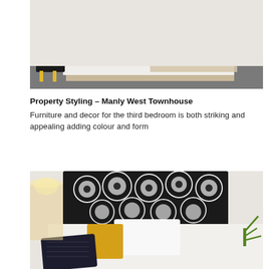[Figure (photo): A bedroom with a single bed dressed in white and beige/tan linen with a black and white geometric patterned pillow. A dark nightstand with yellow legs is visible on the left. Grey carpet on the floor.]
Property Styling – Manly West Townhouse Furniture and decor for the third bedroom is both striking and appealing adding colour and form
[Figure (photo): A bedroom headboard with a bold black and white floral/circular pattern. Yellow mustard velvet pillow, white pillows, a dark navy textured cushion in the foreground, a lamp with warm light on the left, and a green plant on the right.]